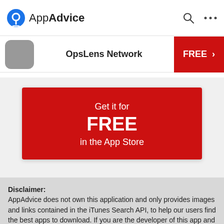AppAdvice
OpsLens Network
[Figure (infographic): Red banner: Get it for FREE in the App Store]
Disclaimer: AppAdvice does not own this application and only provides images and links contained in the iTunes Search API, to help our users find the best apps to download. If you are the developer of this app and would like your information removed, please send a request to takedown@appadvice.com and your information will be removed.